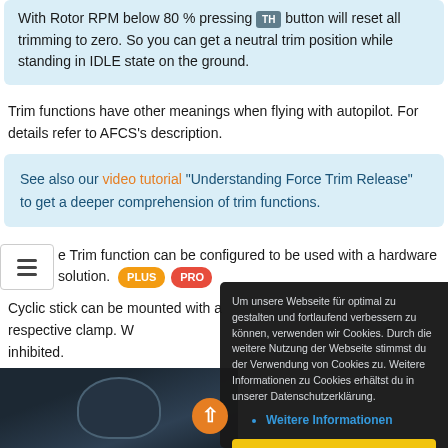With Rotor RPM below 80 % pressing [TH] button will reset all trimming to zero. So you can get a neutral trim position while standing in IDLE state on the ground.
Trim functions have other meanings when flying with autopilot. For details refer to AFCS's description.
See also our video tutorial "Understanding Force Trim Release" to get a deeper comprehension of trim functions.
e Trim function can be configured to be used with a hardware solution. [PLUS] [PRO]
Cyclic stick can be mounted with a respective clamp. W... inhibited.
Um unsere Webseite für optimal zu gestalten und fortlaufend verbessern zu können, verwenden wir Cookies. Durch die weitere Nutzung der Webseite stimmst du der Verwendung von Cookies zu. Weitere Informationen zu Cookies erhältst du in unserer Datenschutzerklärung.
Weitere Informationen
Einverstanden
[Figure (photo): Dark partial photo of hardware/joystick equipment at the bottom of the page]